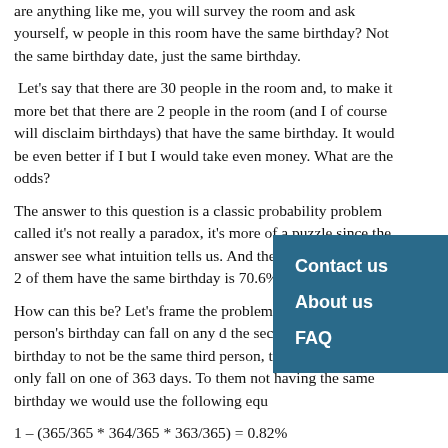are anything like me, you will survey the room and ask yourself, w people in this room have the same birthday? Not the same birthday date, just the same birthday.
Let's say that there are 30 people in the room and, to make it more bet that there are 2 people in the room (and I of course will disclaim birthdays) that have the same birthday. It would be even better if I but I would take even money. What are the odds?
The answer to this question is a classic probability problem called it's not really a paradox, it's more of a puzzle since the answer see what intuition tells us. And the answer is that if that 2 of them have the same birthday is 70.6%,
How can this be? Let's frame the problem the f then the first person's birthday can fall on any d the second person's birthday to not be the same third person, then his birthday can only fall on one of 363 days. To them not having the same birthday we would use the following equ
So, in a room with 3 people in, the probability that 2 of them have 1% (0.82%).